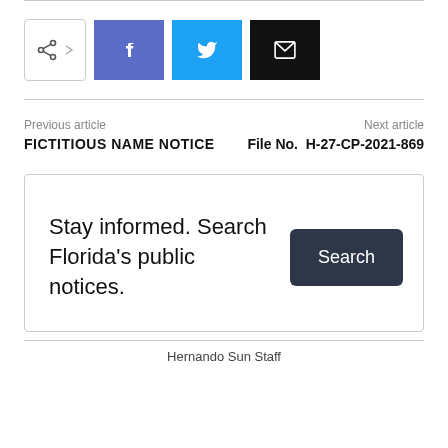[Figure (other): Social share buttons row: share icon button, Facebook button, Twitter button, Email button]
Previous article
FICTITIOUS NAME NOTICE
Next article
File No.  H-27-CP-2021-869
Stay informed. Search Florida's public notices.
Hernando Sun Staff